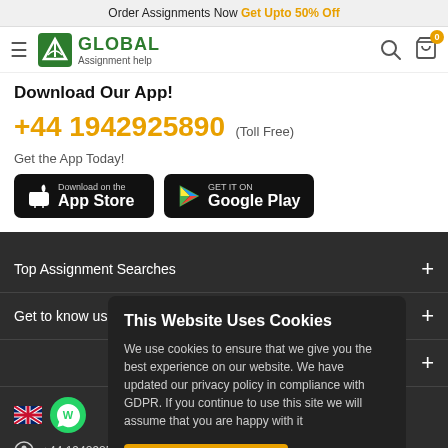Order Assignments Now Get Upto 50% Off
[Figure (logo): Global Assignment Help logo with hamburger menu, search and cart icons]
Download Our App!
+44 1942925890 (Toll Free)
Get the App Today!
[Figure (illustration): App Store and Google Play download buttons]
Top Assignment Searches
Get to know us
[Figure (infographic): Cookie consent popup: This Website Uses Cookies. We use cookies to ensure that we give you the best experience on our website. We have updated our privacy policy in compliance with GDPR. If you continue to use this site we will assume that you are happy with it. Yes, I accept Cookies | View Detail]